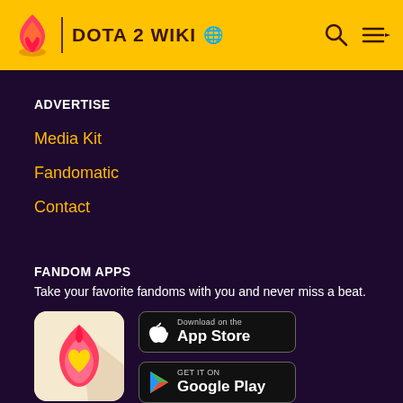DOTA 2 WIKI
ADVERTISE
Media Kit
Fandomatic
Contact
FANDOM APPS
Take your favorite fandoms with you and never miss a beat.
[Figure (logo): Fandom app icon with pink/red flame and yellow heart on beige background]
[Figure (screenshot): Download on the App Store badge]
[Figure (screenshot): GET IT ON Google Play badge]